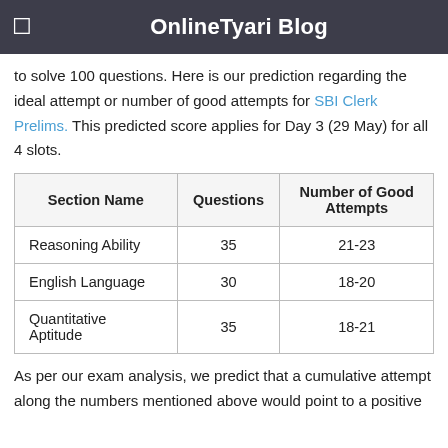OnlineTyari Blog
to solve 100 questions. Here is our prediction regarding the ideal attempt or number of good attempts for SBI Clerk Prelims. This predicted score applies for Day 3 (29 May) for all 4 slots.
| Section Name | Questions | Number of Good Attempts |
| --- | --- | --- |
| Reasoning Ability | 35 | 21-23 |
| English Language | 30 | 18-20 |
| Quantitative Aptitude | 35 | 18-21 |
As per our exam analysis, we predict that a cumulative attempt along the numbers mentioned above would point to a positive